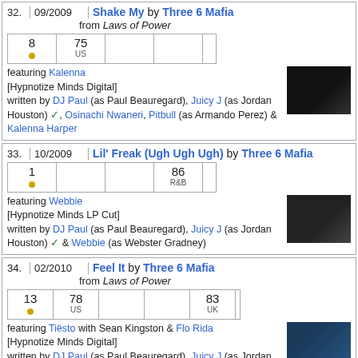| # | Date | Title/Artist | Charts | Info |
| --- | --- | --- | --- | --- |
| 32. | 09/2009 | Shake My by Three 6 Mafia from Laws of Power | 8 / 75 US | featuring Kalenna [Hypnotize Minds Digital] written by DJ Paul (as Paul Beauregard), Juicy J (as Jordan Houston), Osinachi Nwaneri, Pitbull (as Armando Perez) & Kalenna Harper |
| 33. | 10/2009 | Lil' Freak (Ugh Ugh Ugh) by Three 6 Mafia | 1 / 86 R&B | featuring Webbie [Hypnotize Minds LP Cut] written by DJ Paul (as Paul Beauregard), Juicy J (as Jordan Houston) & Webbie (as Webster Gradney) |
| 34. | 02/2010 | Feel It by Three 6 Mafia from Laws of Power | 13 / 78 US / 83 UK | featuring Tiësto with Sean Kingston & Flo Rida [Hypnotize Minds Digital] written by DJ Paul (as Paul Beauregard), Juicy J (as Jordan Houston), Flo Rida (as Tramar Dillard), Tony Butler, Tiësto (as Tijs Michiel Verwest), Dennis J. Waakop Reigers-Fraaji, DJ Frank E (as Justin Franks) & Maciec Ali (as Brandon Green) |